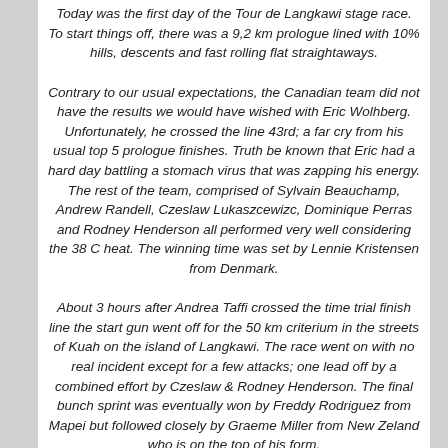Today was the first day of the Tour de Langkawi stage race. To start things off, there was a 9,2 km prologue lined with 10% hills, descents and fast rolling flat straightaways.
Contrary to our usual expectations, the Canadian team did not have the results we would have wished with Eric Wolhberg. Unfortunately, he crossed the line 43rd; a far cry from his usual top 5 prologue finishes. Truth be known that Eric had a hard day battling a stomach virus that was zapping his energy. The rest of the team, comprised of Sylvain Beauchamp, Andrew Randell, Czeslaw Lukaszcewizc, Dominique Perras and Rodney Henderson all performed very well considering the 38 C heat. The winning time was set by Lennie Kristensen from Denmark.
About 3 hours after Andrea Taffi crossed the time trial finish line the start gun went off for the 50 km criterium in the streets of Kuah on the island of Langkawi. The race went on with no real incident except for a few attacks; one lead off by a combined effort by Czeslaw & Rodney Henderson. The final bunch sprint was eventually won by Freddy Rodriguez from Mapei but followed closely by Graeme Miller from New Zeland who is on the top of his form.
We left the isle of Langkawi an hour after the criterium finish to reach the Malaysian mainland and eventually arrived in Kangar at the site of